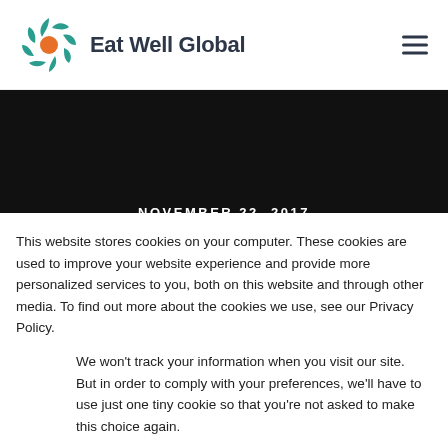[Figure (logo): Eat Well Global logo: circular emblem with teal leaf/petal segments and orange center, followed by bold dark text 'Eat Well Global']
NOVEMBER 22, 2017
This website stores cookies on your computer. These cookies are used to improve your website experience and provide more personalized services to you, both on this website and through other media. To find out more about the cookies we use, see our Privacy Policy.
We won't track your information when you visit our site. But in order to comply with your preferences, we'll have to use just one tiny cookie so that you're not asked to make this choice again.